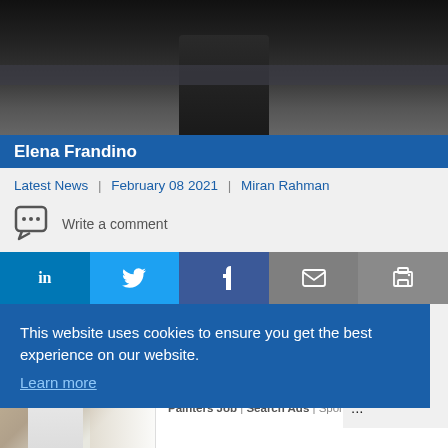[Figure (photo): Dark photo, person visible from behind in a dim interior setting]
Elena Frandino
Latest News |   February 08 2021   |   Miran Rahman
Write a comment
[Figure (infographic): Social share bar with LinkedIn, Twitter, Facebook, Email, and Print buttons]
This website uses cookies to ensure you get the best experience on our website.
Learn more
major
e it
...
[Figure (photo): Person painting a wall white]
Avarage Painter Salary In 2022 Is Just Unbelievable (See List)
Painters Job | Search Ads | Sponsored